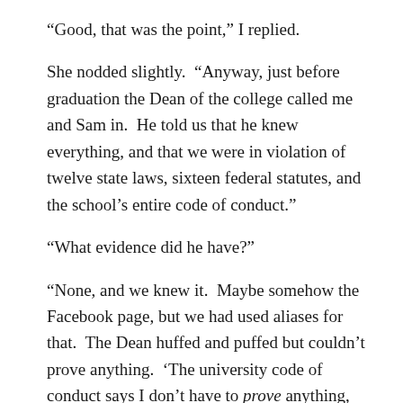“Good, that was the point,” I replied.
She nodded slightly.  “Anyway, just before graduation the Dean of the college called me and Sam in.  He told us that he knew everything, and that we were in violation of twelve state laws, sixteen federal statutes, and the school’s entire code of conduct.”
“What evidence did he have?”
“None, and we knew it.  Maybe somehow the Facebook page, but we had used aliases for that.  The Dean huffed and puffed but couldn’t prove anything.  ‘The university code of conduct says I don’t have to prove anything, although I can’, the Dean said.  ‘Then why are we here, instead of expelled?’  asked Sam.  There wasn’t an